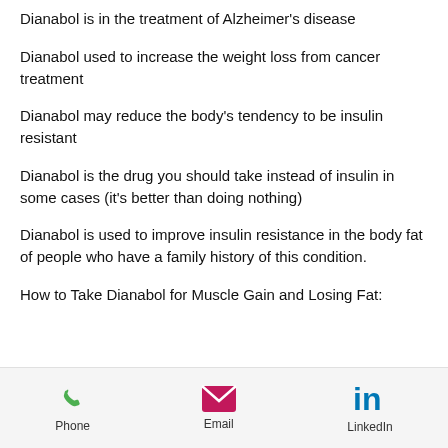Dianabol is in the treatment of Alzheimer's disease
Dianabol used to increase the weight loss from cancer treatment
Dianabol may reduce the body's tendency to be insulin resistant
Dianabol is the drug you should take instead of insulin in some cases (it's better than doing nothing)
Dianabol is used to improve insulin resistance in the body fat of people who have a family history of this condition.
How to Take Dianabol for Muscle Gain and Losing Fat:
Phone | Email | LinkedIn